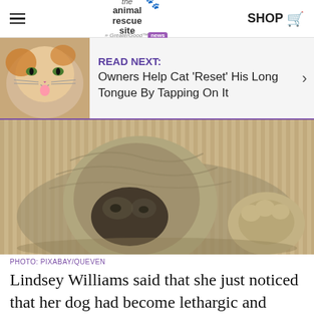the animal rescue site news | SHOP
READ NEXT: Owners Help Cat 'Reset' His Long Tongue By Tapping On It
[Figure (photo): Close-up of a sleeping dog's nose and face resting on a corduroy surface, paws visible]
PHOTO: PIXABAY/QUEVEN
Lindsey Williams said that she just noticed that her dog had become lethargic and started vomiting. Hoping that maybe whatever her dog was feeling was nothing